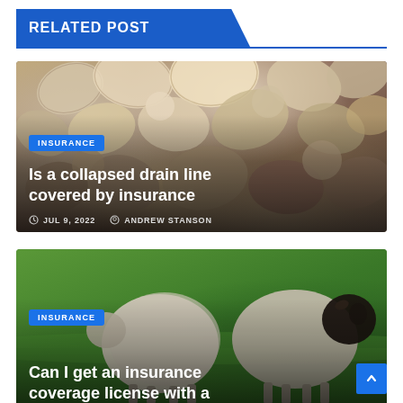RELATED POST
[Figure (photo): Photo of a large pile of seashells and clam shells in various brown, tan, and cream tones.]
INSURANCE
Is a collapsed drain line covered by insurance
JUL 9, 2022   ANDREW STANSON
[Figure (photo): Photo of two sheep on green grass; one sheep has a dark/black head and face, the other faces away.]
INSURANCE
Can I get an insurance coverage license with a